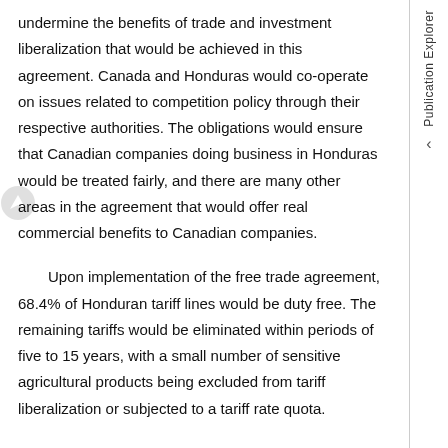undermine the benefits of trade and investment liberalization that would be achieved in this agreement. Canada and Honduras would co-operate on issues related to competition policy through their respective authorities. The obligations would ensure that Canadian companies doing business in Honduras would be treated fairly, and there are many other areas in the agreement that would offer real commercial benefits to Canadian companies.
Upon implementation of the free trade agreement, 68.4% of Honduran tariff lines would be duty free. The remaining tariffs would be eliminated within periods of five to 15 years, with a small number of sensitive agricultural products being excluded from tariff liberalization or subjected to a tariff rate quota.